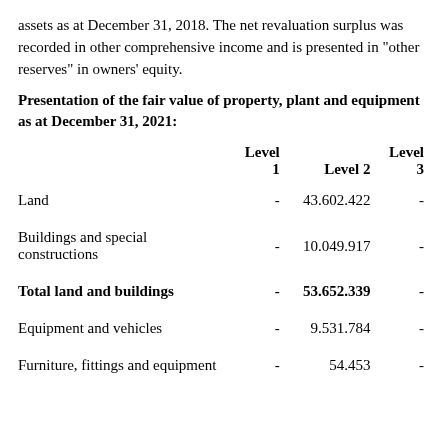assets as at December 31, 2018. The net revaluation surplus was recorded in other comprehensive income and is presented in "other reserves" in owners' equity.
Presentation of the fair value of property, plant and equipment as at December 31, 2021:
|  | Level 1 | Level 2 | Level 3 |
| --- | --- | --- | --- |
| Land | - | 43.602.422 | - |
| Buildings and special constructions | - | 10.049.917 | - |
| Total land and buildings | - | 53.652.339 | - |
| Equipment and vehicles | - | 9.531.784 | - |
| Furniture, fittings and equipment | - | 54.453 | - |